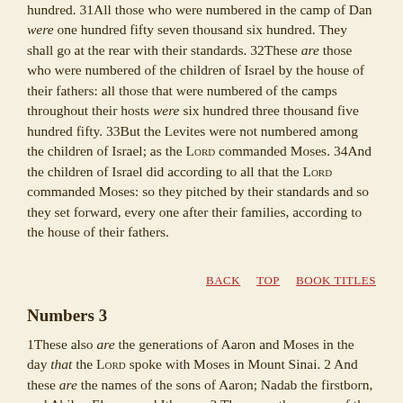hundred. 31All those who were numbered in the camp of Dan were one hundred fifty seven thousand six hundred. They shall go at the rear with their standards. 32These are those who were numbered of the children of Israel by the house of their fathers: all those that were numbered of the camps throughout their hosts were six hundred three thousand five hundred fifty. 33But the Levites were not numbered among the children of Israel; as the LORD commanded Moses. 34And the children of Israel did according to all that the LORD commanded Moses: so they pitched by their standards and so they set forward, every one after their families, according to the house of their fathers.
BACK   TOP   BOOK TITLES
Numbers 3
1These also are the generations of Aaron and Moses in the day that the LORD spoke with Moses in Mount Sinai. 2 And these are the names of the sons of Aaron; Nadab the firstborn, and Abihu, Eleazar and Ithamar. 3 These are the names of the sons of Aaron, the priests who were anointed, whom he consecrated to minister in the priestly office. 4 And